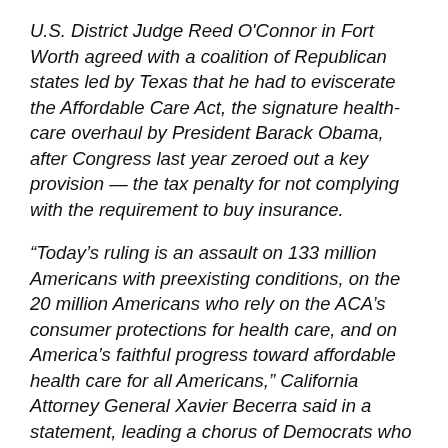U.S. District Judge Reed O'Connor in Fort Worth agreed with a coalition of Republican states led by Texas that he had to eviscerate the Affordable Care Act, the signature health-care overhaul by President Barack Obama, after Congress last year zeroed out a key provision — the tax penalty for not complying with the requirement to buy insurance.
“Today’s ruling is an assault on 133 million Americans with preexisting conditions, on the 20 million Americans who rely on the ACA’s consumer protections for health care, and on America’s faithful progress toward affordable health care for all Americans,” California Attorney General Xavier Becerra said in a statement, leading a chorus of Democrats who blasted the decision. A spokeswoman for Becerra vowed a quick challenge to O’Connor’s ruling.